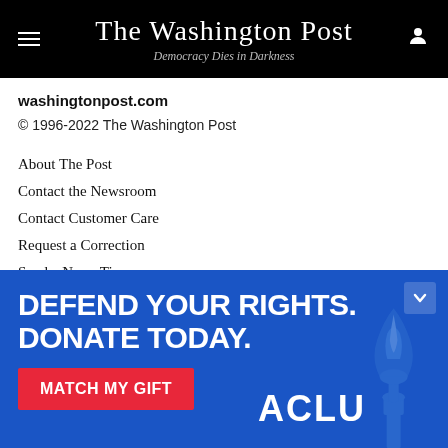The Washington Post — Democracy Dies in Darkness
washingtonpost.com
© 1996-2022 The Washington Post
About The Post
Contact the Newsroom
Contact Customer Care
Request a Correction
Send a News Tip
Report a Vulnerability
Download the Washington Post App
Policies & Standards
Terms of Service
[Figure (infographic): ACLU advertisement banner: DEFEND YOUR RIGHTS. DONATE TODAY. MATCH MY GIFT button. Blue background with Statue of Liberty torch image and ACLU logo.]